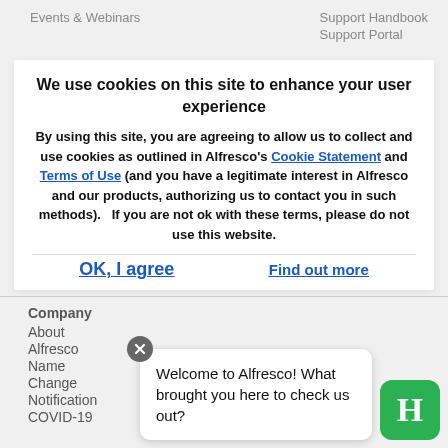Events & Webinars   Support Handbook   Support Portal
We use cookies on this site to enhance your user experience
By using this site, you are agreeing to allow us to collect and use cookies as outlined in Alfresco’s Cookie Statement and Terms of Use (and you have a legitimate interest in Alfresco and our products, authorizing us to contact you in such methods).   If you are not ok with these terms, please do not use this website.
OK, I agree
Find out more
Company
About
Alfresco
Name
Change
Notification
COVID-19
[Figure (screenshot): Chat widget with close button, message 'Welcome to Alfresco! What brought you here to check us out?' and green H icon]